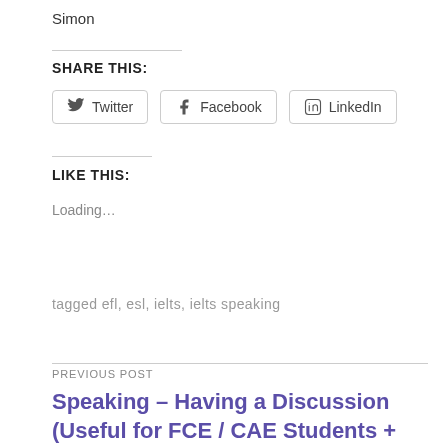Simon
SHARE THIS:
Twitter  Facebook  LinkedIn
LIKE THIS:
Loading…
tagged efl, esl, ielts, ielts speaking
PREVIOUS POST
Speaking – Having a Discussion (Useful for FCE / CAE Students + Teachers)